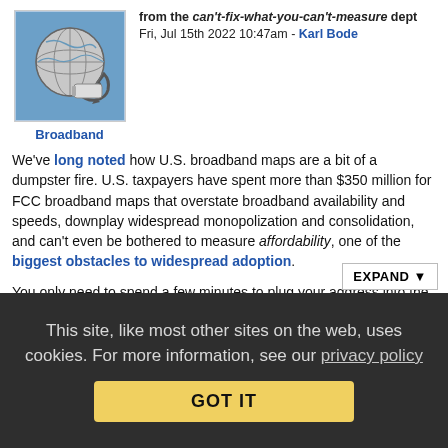[Figure (illustration): Globe with an ethernet/network cable wrapped around it on a blue background]
Broadband
from the can't-fix-what-you-can't-measure dept
Fri, Jul 15th 2022 10:47am - Karl Bode
We've long noted how U.S. broadband maps are a bit of a dumpster fire. U.S. taxpayers have spent more than $350 million for FCC broadband maps that overstate broadband availability and speeds, downplay widespread monopolization and consolidation, and can't even be bothered to measure affordability, one of the biggest obstacles to widespread adoption.
You only need to spend a few minutes to plug your address into the FCC's broadband mapping website to see how the government data all but hallucinates competitors and speeds. Bad data makes it easier for entrenched broadband monopolies (and the regulators, lawmakers, think tankers, consultants, lobbyists, and so...
EXPAND ▼
This site, like most other sites on the web, uses cookies. For more information, see our privacy policy
GOT IT